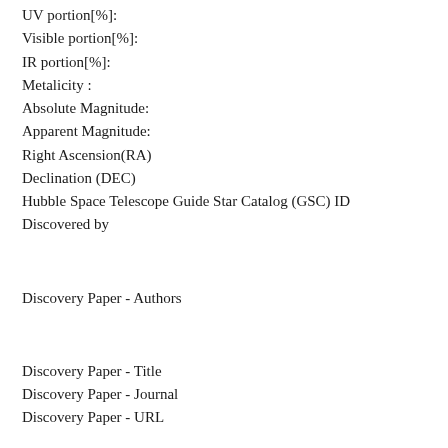UV portion[%]:
Visible portion[%]:
IR portion[%]:
Metalicity :
Absolute Magnitude:
Apparent Magnitude:
Right Ascension(RA)
Declination (DEC)
Hubble Space Telescope Guide Star Catalog (GSC) ID
Discovered by
Discovery Paper - Authors
Discovery Paper - Title
Discovery Paper - Journal
Discovery Paper - URL
SIMBAD LINK